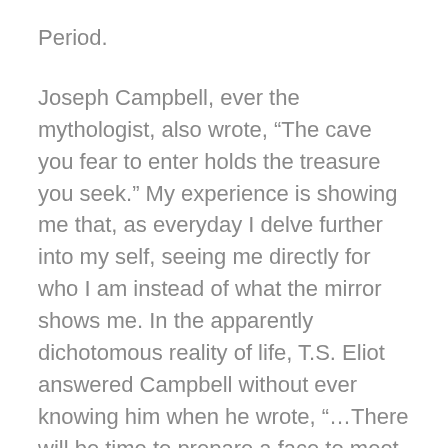Period.
Joseph Campbell, ever the mythologist, also wrote, “The cave you fear to enter holds the treasure you seek.” My experience is showing me that, as everyday I delve further into my self, seeing me directly for who I am instead of what the mirror shows me. In the apparently dichotomous reality of life, T.S. Eliot answered Campbell without ever knowing him when he wrote, “…There will be time to prepare a face to meet the faces that you meet; There will be time to murder and create, and time for all the works and days of hands that lift and drop a question on your plate; Time for you and time for me, and time yet for a hundred indecisions, and for a hundred